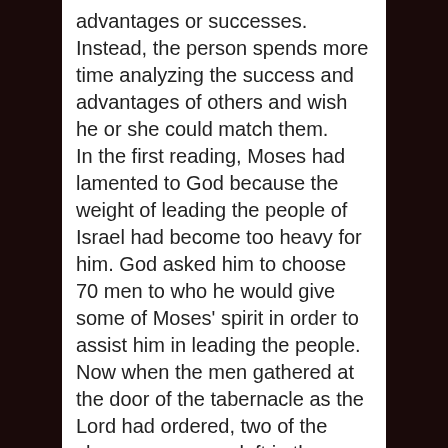advantages or successes. Instead, the person spends more time analyzing the success and advantages of others and wish he or she could match them. In the first reading, Moses had lamented to God because the weight of leading the people of Israel had become too heavy for him. God asked him to choose 70 men to who he would give some of Moses' spirit in order to assist him in leading the people. Now when the men gathered at the door of the tabernacle as the Lord had ordered, two of the chosen men were left in the camp. However, when the spirit of Moses was distributed to the men at the tabernacles, these two also received it and began to prophesy in the camp. A certain boy reported this matter to Moses. Immediately,